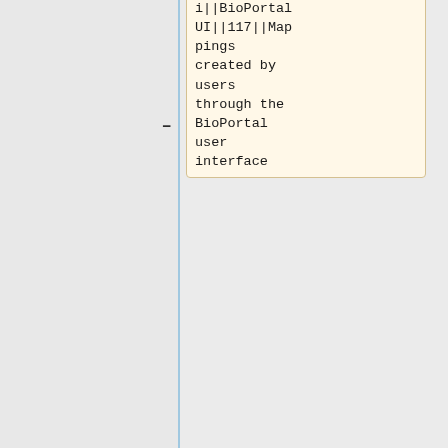i||BioPortal UI||117||Mappings created by users through the BioPortal user interface
-
<tt>select * from mappings where map_source = "BioPortal UI"</tt>
- |-
|